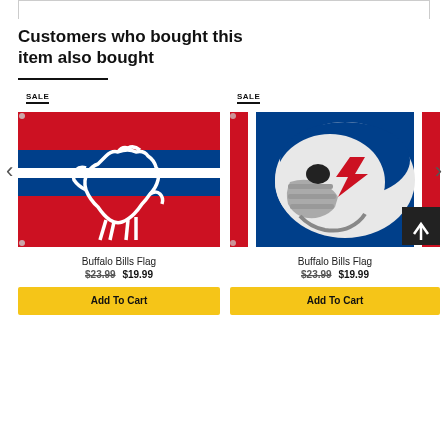Customers who bought this item also bought
SALE
[Figure (photo): Buffalo Bills retro red flag with white bison outline and blue/white horizontal stripes]
SALE
[Figure (photo): Buffalo Bills blue flag featuring white football helmet with red and blue Bills logo]
Buffalo Bills Flag
Buffalo Bills Flag
$23.99  $19.99
$23.99  $19.99
Add To Cart
Add To Cart